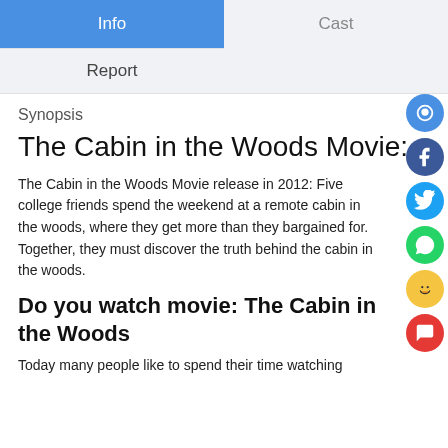Info
Cast
Report
Synopsis
The Cabin in the Woods Movie:
The Cabin in the Woods Movie release in 2012: Five college friends spend the weekend at a remote cabin in the woods, where they get more than they bargained for. Together, they must discover the truth behind the cabin in the woods.
Do you watch movie: The Cabin in the Woods
Today many people like to spend their time watching